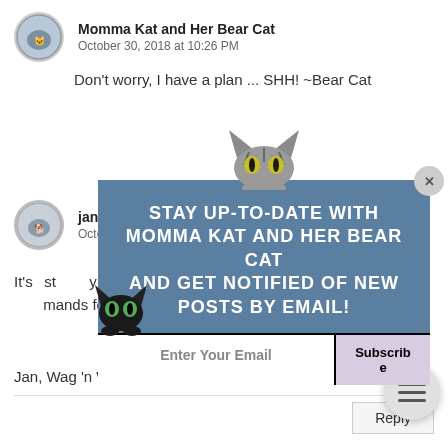Momma Kat and Her Bear Cat
October 30, 2018 at 10:26 PM
Don't worry, I have a plan ... SHH! ~Bear Cat
jank1
October
It's sto... y we have only o... et at night! The w... mands for breakfast. :)
Jan, Wag 'n Woof Pets
[Figure (screenshot): Email subscription modal overlay with cat illustration. Dark background with blue header box reading 'STAY UP-TO-DATE WITH MOMMA KAT AND HER BEAR CAT AND GET NOTIFIED OF NEW POSTS BY EMAIL!' and email input field with Subscribe button. Cat emoji illustrations on top and left side of modal.]
Reply